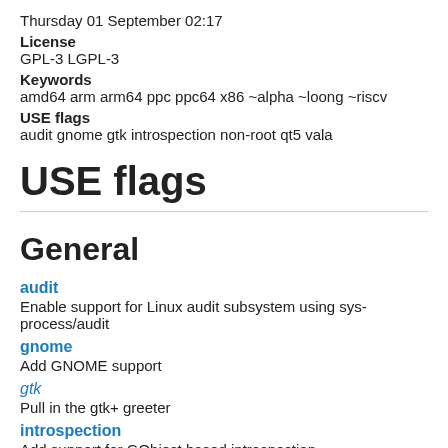Thursday 01 September 02:17
License
GPL-3 LGPL-3
Keywords
amd64 arm arm64 ppc ppc64 x86 ~alpha ~loong ~riscv
USE flags
audit gnome gtk introspection non-root qt5 vala
USE flags
General
audit
Enable support for Linux audit subsystem using sys-process/audit
gnome
Add GNOME support
gtk
Pull in the gtk+ greeter
introspection
Add support for GObject based introspection